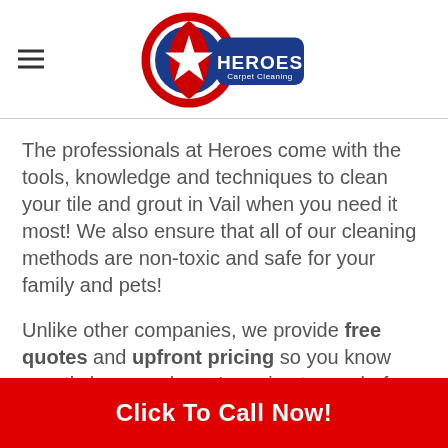Heroes Carpet Cleaning logo with hamburger menu
The professionals at Heroes come with the tools, knowledge and techniques to clean your tile and grout in Vail when you need it most! We also ensure that all of our cleaning methods are non-toxic and safe for your family and pets!
Unlike other companies, we provide free quotes and upfront pricing so you know exactly how much you're going to pay before any work is
Click To Call Now!